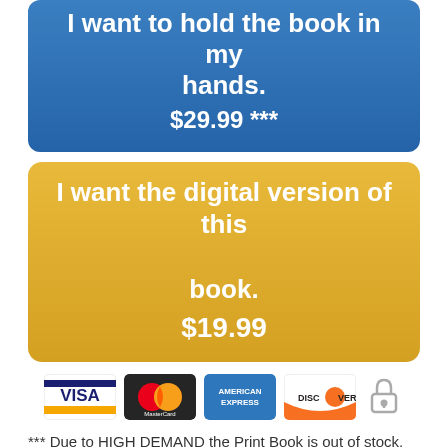I want to hold the book in my hands.
$29.99 ***
I want the digital version of this book.
$19.99
[Figure (other): Payment method icons: Visa, MasterCard, American Express, Discover, and a padlock security icon]
*** Due to HIGH DEMAND the Print Book is out of stock. We have more on the way and expect the delay to be roughly 2 weeks.